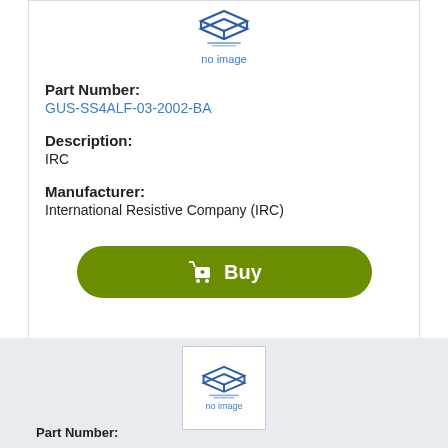[Figure (logo): Blue layered logo icon with 'no image' text below]
Part Number:
GUS-SS4ALF-03-2002-BA
Description:
IRC
Manufacturer:
International Resistive Company (IRC)
[Figure (illustration): Green Buy button with shopping cart icon]
[Figure (logo): Blue layered logo icon with 'no image' text in white card on grey background]
Part Number: